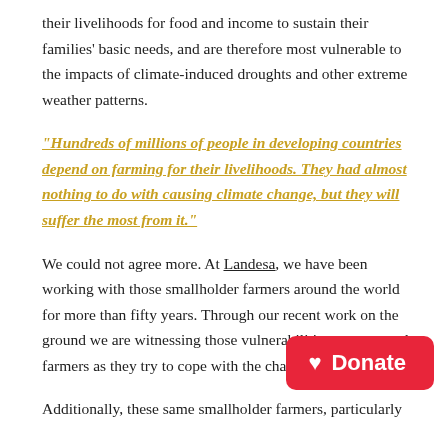their livelihoods for food and income to sustain their families' basic needs, and are therefore most vulnerable to the impacts of climate-induced droughts and other extreme weather patterns.
“Hundreds of millions of people in developing countries depend on farming for their livelihoods. They had almost nothing to do with causing climate change, but they will suffer the most from it.”
We could not agree more. At Landesa, we have been working with those smallholder farmers around the world for more than fifty years. Through our recent work on the ground we are witnessing those vulnerabilities among rural farmers as they try to cope with the changing clima…
Additionally, these same smallholder farmers, particularly